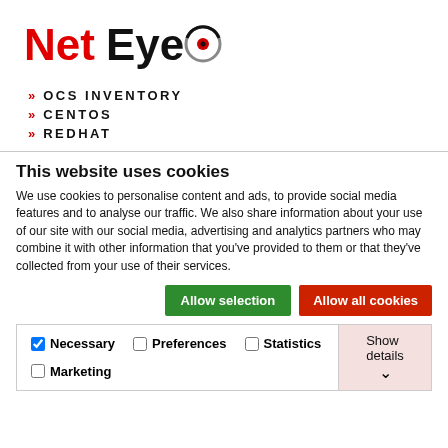[Figure (logo): NetEye logo with red 'Net' text, black 'Eye' text, and a circular target/eye icon in black and red]
» OCS INVENTORY
» CENTOS
» REDHAT
This website uses cookies
We use cookies to personalise content and ads, to provide social media features and to analyse our traffic. We also share information about your use of our site with our social media, advertising and analytics partners who may combine it with other information that you've provided to them or that they've collected from your use of their services.
Allow selection | Allow all cookies
Necessary  Preferences  Statistics  Marketing  Show details